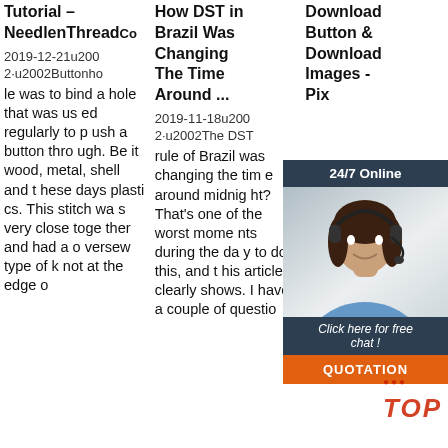Tutorial – NeedlenThreadCo
2019-12-21u2002·u2002Buttonhole was to bind a hole that was used regularly to push a button through. Be it wood, metal, shell and these days plastics. This stitch was very close together and had a oversew type of knot at the edge o
How DST in Brazil Was Changing The Time Around ...
2019-11-18u2002·u2002The DST rule of Brazil was changing the time around midnight? That's one of the worst moments during the day to do this, and this article clearly shows. I have a couple of questio
Download Button & Download Images - Pix
134 of D on. es: ton sym ech esign sign. 546 114. Money Home Coin. 75 8. Download Download Now. 62 17. Butt
[Figure (photo): Customer service representative (woman with headset) with 24/7 Online banner, chat button, and QUOTATION button overlay widget]